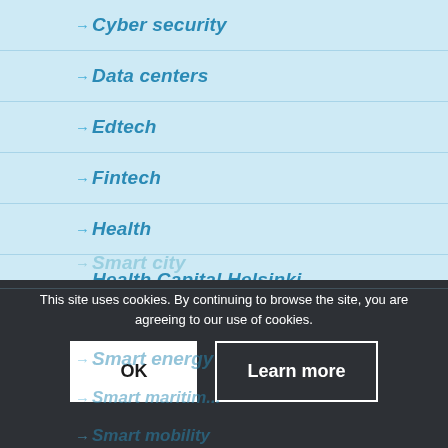→ Cyber security
→ Data centers
→ Edtech
→ Fintech
→ Health
→ Health Capital Helsinki
→ ICT
→ Investor Services
→ Smart building
→ Smart city
→ Smart energy
→ Smart maritime
→ Smart mobility
This site uses cookies. By continuing to browse the site, you are agreeing to our use of cookies.